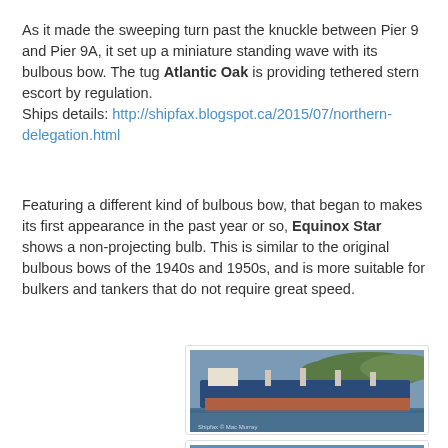As it made the sweeping turn past the knuckle between Pier 9 and Pier 9A, it set up a miniature standing wave with its bulbous bow. The tug Atlantic Oak is providing tethered stern escort by regulation.
Ships details: http://shipfax.blogspot.ca/2015/07/northern-delegation.html
Featuring a different kind of bulbous bow, that began to makes its first appearance in the past year or so, Equinox Star shows a non-projecting bulb. This is similar to the original bulbous bows of the 1940s and 1950s, and is more suitable for bulkers and tankers that do not require great speed.
[Figure (photo): Photo of a large bulk carrier ship (Equinox Star) with a blue hull and rust-colored waterline, docked or moving in a harbor with green hills in the background. Copyright mark: Shipfax © Mac Murray]
[Figure (photo): Partial photo of another ship, cropped at the bottom of the page.]